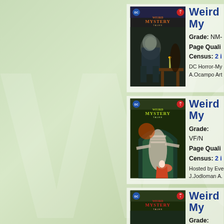[Figure (illustration): Comic book listing 1: Weird Mystery Tales. Cover shows a ghostly figure in suit. Grade: NM-. Page Quality listed. Census: 2 in grade. DC Horror-Mystery title. A.Ocampo Art.]
Weird My...
Grade: NM-
Page Quali...
Census: 2 i...
DC Horror-My...
A.Ocampo Art...
[Figure (illustration): Comic book listing 2: Weird Mystery Tales. Cover shows a mummy/zombie figure. Grade: VF/N. Page Quality listed. Census: 2 in grade. Hosted by Eve. J.Jodloman A.]
Weird My...
Grade: VF/N...
Page Quali...
Census: 2 i...
Hosted by Eve...
J.Jodloman A...
[Figure (illustration): Comic book listing 3: Weird Mystery Tales. Partial view of cover. Grade: VF/... Page Quali...]
Weird My...
Grade: VF/...
Page Quali...